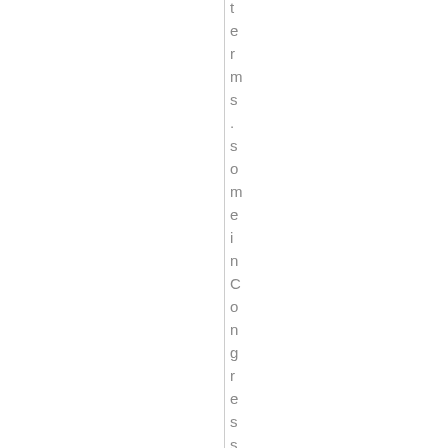terms. some in Congress want t